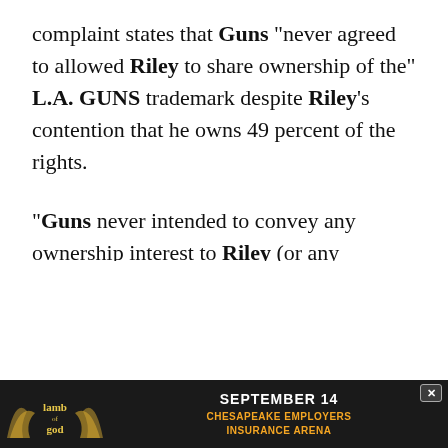complaint states that Guns "never agreed to allowed Riley to share ownership of the" L.A. GUNS trademark despite Riley's contention that he owns 49 percent of the rights.
"Guns never intended to convey any ownership interest to Riley (or any partnership) in the L.A. GUNS mark," the complaint states. "Riley and [cut off]"
This website uses cookies and other tracking technologies to enhance user experience and to analyze performance and traffic on our website. Information about your use of our site may also be shared with social media, advertising, retail and analytics providers and partners. Privacy Policy
[Figure (infographic): Advertisement banner for Lamb of God concert: September 14, Chesapeake Employers Insurance Arena. Dark background with gold artistic wings and Lamb of God logo.]